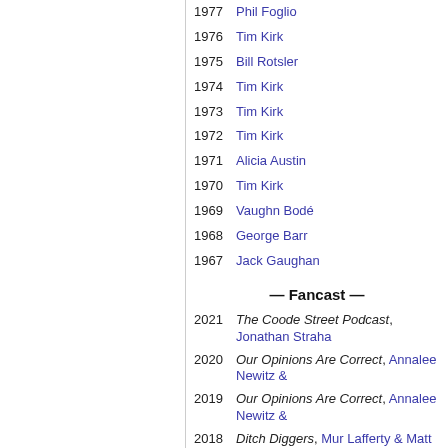1977 Phil Foglio
1976 Tim Kirk
1975 Bill Rotsler
1974 Tim Kirk
1973 Tim Kirk
1972 Tim Kirk
1971 Alicia Austin
1970 Tim Kirk
1969 Vaughn Bodé
1968 George Barr
1967 Jack Gaughan
— Fancast —
2021 The Coode Street Podcast, Jonathan Strahan &…
2020 Our Opinions Are Correct, Annalee Newitz &…
2019 Our Opinions Are Correct, Annalee Newitz &…
2018 Ditch Diggers, Mur Lafferty & Matt Wallace
2017 Tea & Jeopardy, Emma Newman & Peter Ne…
2016 no award
2015 Galactic Suburbia Podcast, Alisa Krasnostei…
2014 SF Signal Podcast, Patrick Hester…